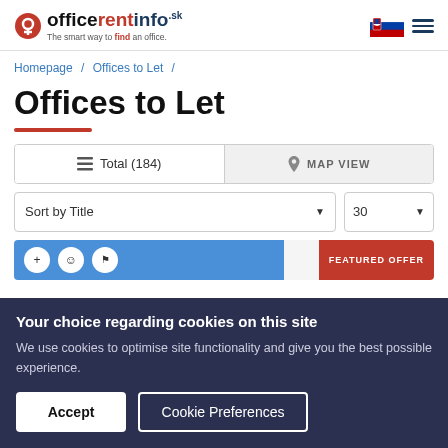officerentinfo.sk — The smart way to find an office.
Homepage / Offices to Let /
Offices to Let
Total (184)   MAP VIEW
Sort by Title   30
Your choice regarding cookies on this site
We use cookies to optimise site functionality and give you the best possible experience.
Accept   Cookie Preferences